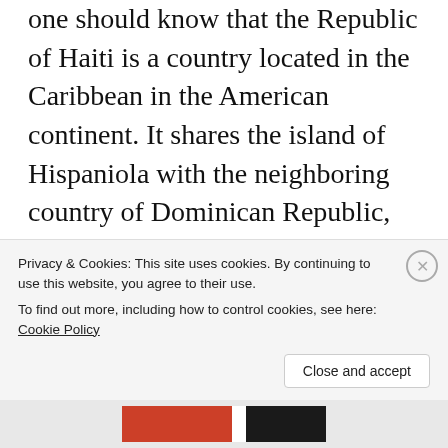one should know that the Republic of Haiti is a country located in the Caribbean in the American continent. It shares the island of Hispaniola with the neighboring country of Dominican Republic, situated on the East side of the island, and Haiti on the West side. Haiti is about the size of the state of Maryland and slightly smaller than the state of Massachusetts. According to the World Population Review, Haiti has a population of 11,547,400 people. Haiti is only six hundred miles from the U.S. coat or 1,136 km. To show
Privacy & Cookies: This site uses cookies. By continuing to use this website, you agree to their use.
To find out more, including how to control cookies, see here: Cookie Policy
Close and accept